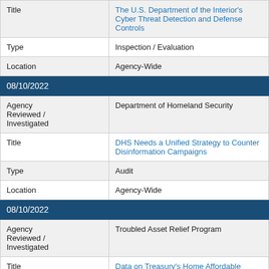| Title | The U.S. Department of the Interior's Cyber Threat Detection and Defense Controls |
| Type | Inspection / Evaluation |
| Location | Agency-Wide |
| 08/10/2022 |  |
| Agency Reviewed / Investigated | Department of Homeland Security |
| Title | DHS Needs a Unified Strategy to Counter Disinformation Campaigns |
| Type | Audit |
| Location | Agency-Wide |
| 08/10/2022 |  |
| Agency Reviewed / Investigated | Troubled Asset Relief Program |
| Title | Data on Treasury's Home Affordable Modification Program Show Homeowners May Be Vulnerable to Current Economic Conditions |